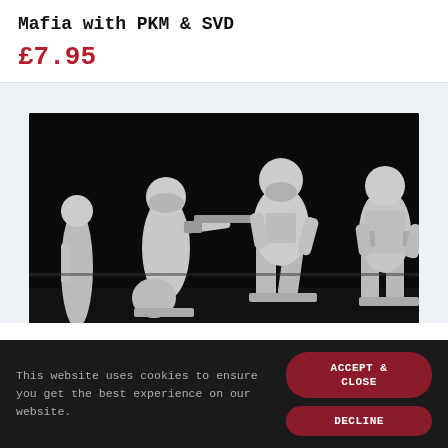Mafia with PKM & SVD
£7.95
[Figure (photo): Product photo showing grey metal tabletop miniature figurines of armed men posed in combat stances against a black background. Three fully visible figures and partial fourth figure, each holding weapons including rifles.]
This website uses cookies to ensure you get the best experience on our website.
ACCEPT & CLOSE
DECLINE